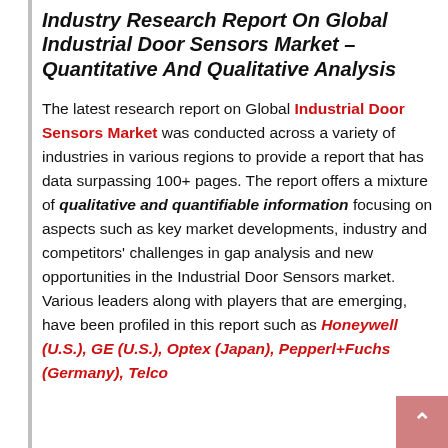Industry Research Report On Global Industrial Door Sensors Market – Quantitative And Qualitative Analysis
The latest research report on Global Industrial Door Sensors Market was conducted across a variety of industries in various regions to provide a report that has data surpassing 100+ pages. The report offers a mixture of qualitative and quantifiable information focusing on aspects such as key market developments, industry and competitors' challenges in gap analysis and new opportunities in the Industrial Door Sensors market. Various leaders along with players that are emerging, have been profiled in this report such as Honeywell (U.S.), GE (U.S.), Optex (Japan), Pepperl+Fuchs (Germany), Telco